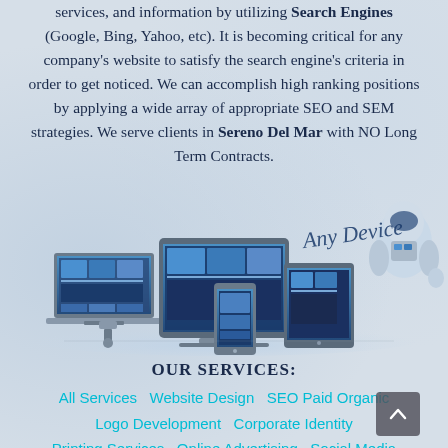services, and information by utilizing Search Engines (Google, Bing, Yahoo, etc). It is becoming critical for any company's website to satisfy the search engine's criteria in order to get noticed. We can accomplish high ranking positions by applying a wide array of appropriate SEO and SEM strategies. We serve clients in Sereno Del Mar with NO Long Term Contracts.
[Figure (illustration): A composite image of multiple digital devices (laptops, tablets, smartphones, desktop monitor) showing websites, with the text 'Any Device' in a handwritten style and a futuristic robot figure on the right.]
OUR SERVICES:
All Services  Website Design  SEO Paid Organic  Logo Development  Corporate Identity  Printing Services  Online Advertising  Social Media  Email Marketing  Video Editing  Photo Editing